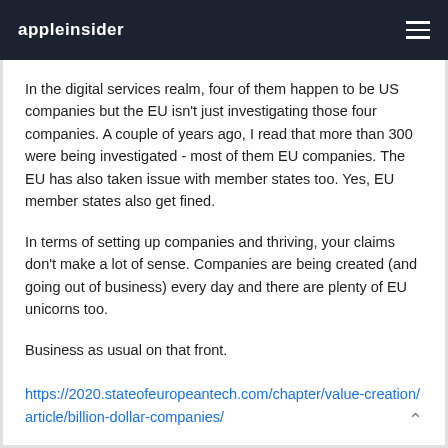appleinsider
In the digital services realm, four of them happen to be US companies but the EU isn't just investigating those four companies. A couple of years ago, I read that more than 300 were being investigated - most of them EU companies. The EU has also taken issue with member states too. Yes, EU member states also get fined.
In terms of setting up companies and thriving, your claims don't make a lot of sense. Companies are being created (and going out of business) every day and there are plenty of EU unicorns too.
Business as usual on that front.
https://2020.stateofeuropeantech.com/chapter/value-creation/article/billion-dollar-companies/